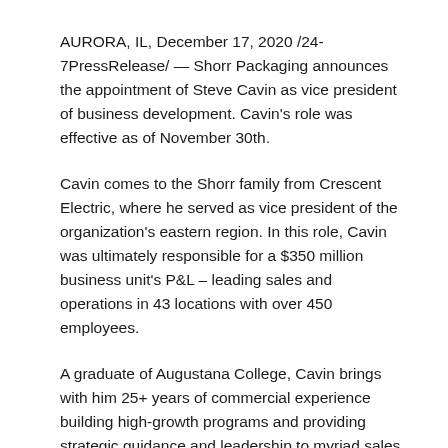AURORA, IL, December 17, 2020 /24-7PressRelease/ — Shorr Packaging announces the appointment of Steve Cavin as vice president of business development. Cavin's role was effective as of November 30th.
Cavin comes to the Shorr family from Crescent Electric, where he served as vice president of the organization's eastern region. In this role, Cavin was ultimately responsible for a $350 million business unit's P&L – leading sales and operations in 43 locations with over 450 employees.
A graduate of Augustana College, Cavin brings with him 25+ years of commercial experience building high-growth programs and providing strategic guidance and leadership to myriad sales teams.